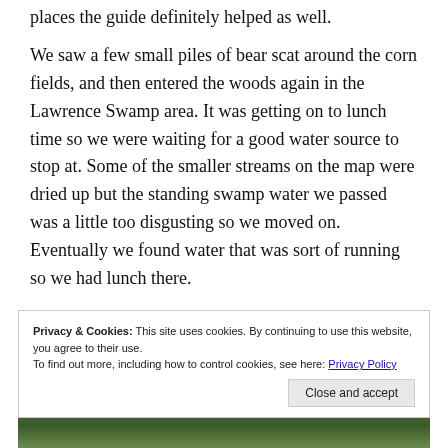places the guide definitely helped as well.
We saw a few small piles of bear scat around the corn fields, and then entered the woods again in the Lawrence Swamp area. It was getting on to lunch time so we were waiting for a good water source to stop at. Some of the smaller streams on the map were dried up but the standing swamp water we passed was a little too disgusting so we moved on. Eventually we found water that was sort of running so we had lunch there.
Privacy & Cookies: This site uses cookies. By continuing to use this website, you agree to their use. To find out more, including how to control cookies, see here: Privacy Policy
Close and accept
[Figure (photo): Bottom strip showing a forest/nature photo, partially visible]